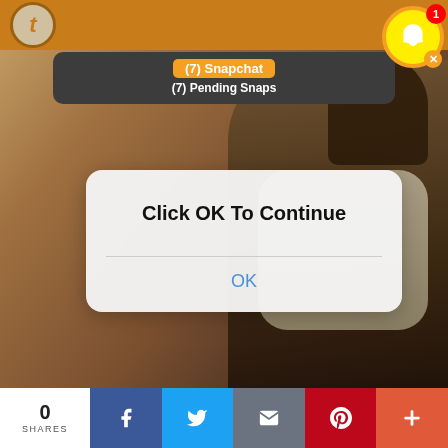[Figure (screenshot): Screenshot of a social media page showing a Snapchat notification banner reading '(7) Snapchat / (7) Pending Snaps' overlaid on a photo of a laughing young man, with a dialog box in the center reading 'Click OK To Continue' and an OK button, plus social share buttons at the bottom.]
(7) Snapchat
(7) Pending Snaps
Click OK To Continue
OK
0
SHARES